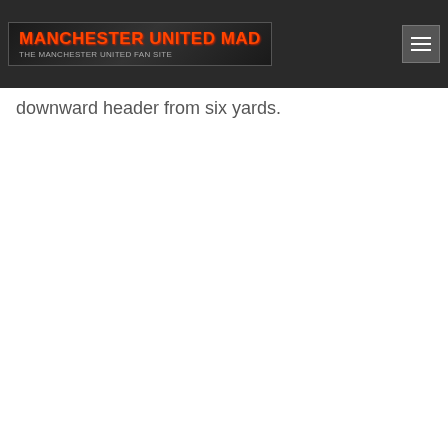MANCHESTER UNITED MAD
downward header from six yards.